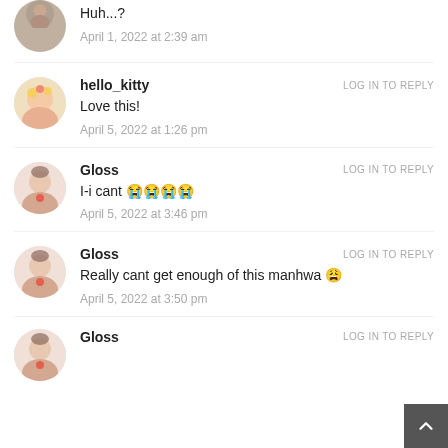Huh...?
April 1, 2022 at 2:39 am
hello_kitty
LOG IN TO REPLY
Love this!
April 5, 2022 at 1:26 pm
Gloss
LOG IN TO REPLY
I-i cant 😭😭😭😭
April 5, 2022 at 3:46 pm
Gloss
LOG IN TO REPLY
Really cant get enough of this manhwa 😩
April 5, 2022 at 3:50 pm
Gloss
LOG IN TO REPLY